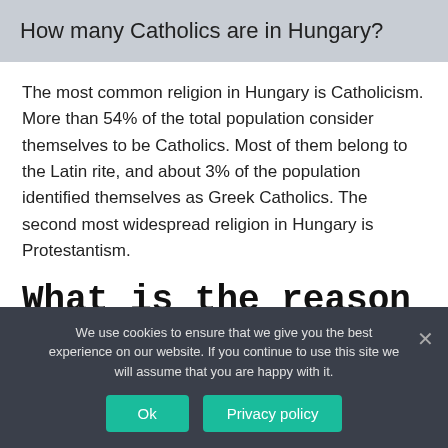How many Catholics are in Hungary?
The most common religion in Hungary is Catholicism. More than 54% of the total population consider themselves to be Catholics. Most of them belong to the Latin rite, and about 3% of the population identified themselves as Greek Catholics. The second most widespread religion in Hungary is Protestantism.
What is the reason for the origins of religion
We use cookies to ensure that we give you the best experience on our website. If you continue to use this site we will assume that you are happy with it.